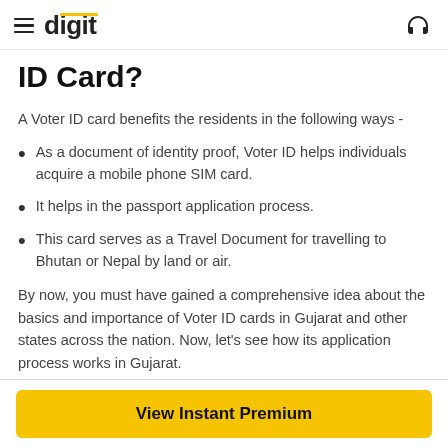digit
ID Card?
A Voter ID card benefits the residents in the following ways -
As a document of identity proof, Voter ID helps individuals acquire a mobile phone SIM card.
It helps in the passport application process.
This card serves as a Travel Document for travelling to Bhutan or Nepal by land or air.
By now, you must have gained a comprehensive idea about the basics and importance of Voter ID cards in Gujarat and other states across the nation. Now, let's see how its application process works in Gujarat.
View Instant Premium